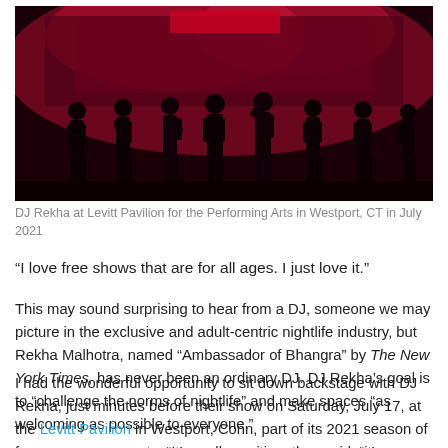[Figure (photo): DJ Rekha performing on stage at Levitt Pavilion, silhouettes of people dancing in red and pink stage lighting]
DJ Rekha at Levitt Pavilion for the Performing Arts in Westport, CT in July 2021
“I love free shows that are for all ages. I just love it.”
This may sound surprising to hear from a DJ, someone we may picture in the exclusive and adult-centric nightlife industry, but Rekha Malhotra, named “Ambassador of Bhangra” by The New York Times, has never been an ordinary DJ. DJ Rekha’s goal is to “challenge the norms of nightlife” and make spaces “as welcoming as possible to everyone.”
I had the wonderful opportunity to sit down backstage with DJ Rekha, just minutes before their show on Saturday, July 17, at the Levitt Pavilion in Westport, Conn, part of its 2021 season of free summer concerts. “It’s really exciting, they said, “it’s my 10th anniversary of being here. I love this gig, it’s one of my favorites,” they added, citing its open space and the enthusiasm of Levitt audiences “dancing